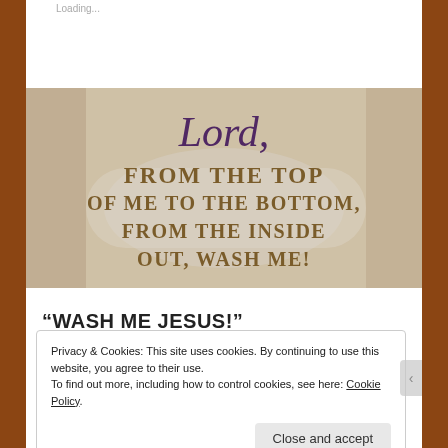Loading...
[Figure (photo): Inspirational quote image over a laundry/washing scene background. Text reads: 'Lord, FROM THE TOP OF ME TO THE BOTTOM, FROM THE INSIDE OUT, WASH ME!' in purple script and bold serif fonts.]
“WASH ME JESUS!”
Privacy & Cookies: This site uses cookies. By continuing to use this website, you agree to their use.
To find out more, including how to control cookies, see here: Cookie Policy
Close and accept